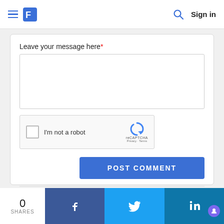Sign in
Leave your message here*
[Figure (screenshot): reCAPTCHA widget with checkbox and 'I'm not a robot' text]
POST COMMENT
0 SHARES